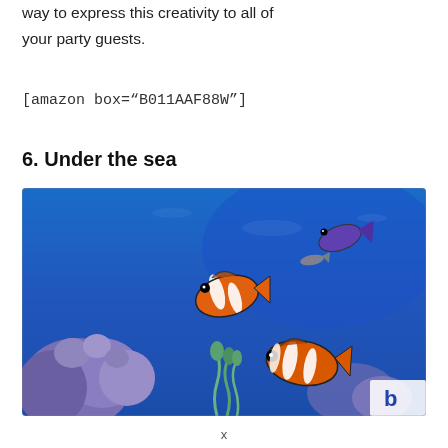way to express this creativity to all of your party guests.
[amazon box="B011AAF88W"]
6. Under the sea
[Figure (photo): Underwater aquarium scene with two clownfish (orange with white stripes) and a purple fish against a vivid blue background, with coral and sea plants visible. A small logo/watermark appears in the bottom right corner.]
x